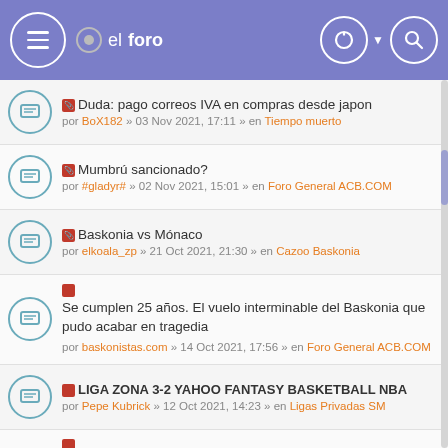el foro
Duda: pago correos IVA en compras desde japon — por BoX182 » 03 Nov 2021, 17:11 » en Tiempo muerto
Mumbrú sancionado? — por #gladyr# » 02 Nov 2021, 15:01 » en Foro General ACB.COM
Baskonia vs Mónaco — por elkoala_zp » 21 Oct 2021, 21:30 » en Cazoo Baskonia
Se cumplen 25 años. El vuelo interminable del Baskonia que pudo acabar en tragedia — por baskonistas.com » 14 Oct 2021, 17:56 » en Foro General ACB.COM
LIGA ZONA 3-2 YAHOO FANTASY BASKETBALL NBA — por Pepe Kubrick » 12 Oct 2021, 14:23 » en Ligas Privadas SM
DIAMOND LEAGUE Liga Yahoo NBA Fantasy requisito: nivel diamond